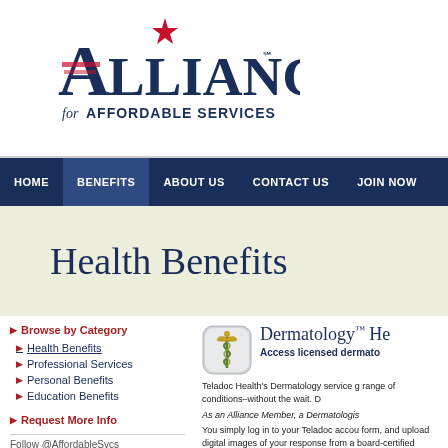[Figure (logo): Alliance for Affordable Services logo with star and flag motif]
HOME | BENEFITS | ABOUT US | CONTACT US | JOIN NOW
Health Benefits
Browse by Category
Health Benefits
Professional Services
Personal Benefits
Education Benefits
Request More Info
Follow @AffordableSvcs
Print this page
[Figure (illustration): Medical caduceus icon in a rounded square button]
Dermatology™ He
Access licensed dermato
Teladoc Health's Dermatology service g range of conditions–without the wait. D
As an Alliance Member, a Dermatologis
You simply log in to your Teladoc accou form, and upload digital images of your response from a board-certified dermat follow-up questions and, when medicall